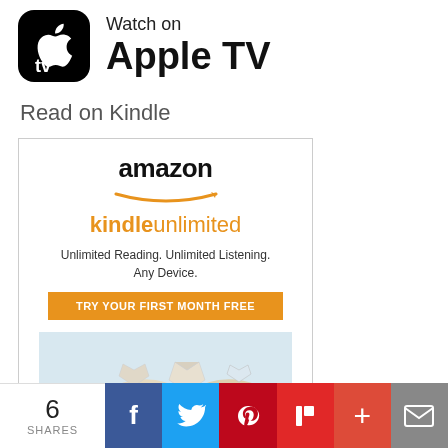[Figure (logo): Apple TV logo with white Apple TV icon on black rounded square, with 'Watch on Apple TV' text beside it]
Read on Kindle
[Figure (screenshot): Amazon Kindle Unlimited advertisement showing amazon logo, kindle unlimited branding in orange, text 'Unlimited Reading. Unlimited Listening. Any Device.' and an orange button 'TRY YOUR FIRST MONTH FREE', with image of open book with paper boats below]
Buy on ebay
6 SHARES | Facebook | Twitter | Pinterest | Flipboard | More | Email